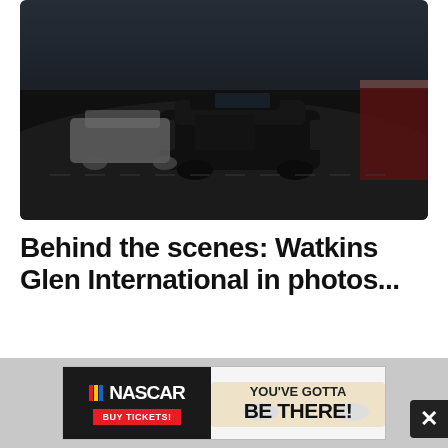[Figure (photo): NASCAR race cars on track at Watkins Glen International. A dark-colored stock car leads the pack on a racing circuit, with grandstands and barriers visible in the background. Dark, moody lighting.]
Behind the scenes: Watkins Glen International in photos...
[Figure (other): NASCAR advertisement banner: NASCAR logo with colored stripes, 'BUY TICKETS!' in red button, a race car image, and text 'YOU'VE GOTTA BE THERE!' on white background. Close button (X) on right side.]